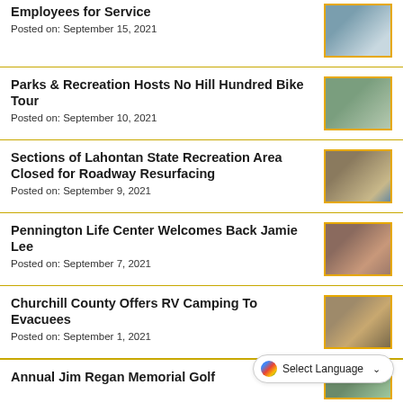Employees for Service
Posted on: September 15, 2021
Parks & Recreation Hosts No Hill Hundred Bike Tour
Posted on: September 10, 2021
Sections of Lahontan State Recreation Area Closed for Roadway Resurfacing
Posted on: September 9, 2021
Pennington Life Center Welcomes Back Jamie Lee
Posted on: September 7, 2021
Churchill County Offers RV Camping To Evacuees
Posted on: September 1, 2021
Annual Jim Regan Memorial Golf
[Figure (screenshot): Select Language button overlay at bottom right of page]